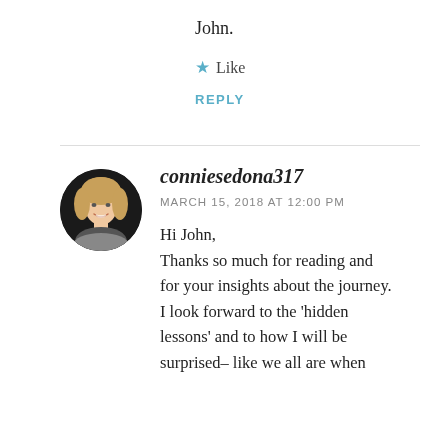John.
★ Like
REPLY
[Figure (photo): Circular profile photo of a woman with blonde hair smiling, on dark background]
conniesedona317
MARCH 15, 2018 AT 12:00 PM
Hi John,
Thanks so much for reading and for your insights about the journey. I look forward to the 'hidden lessons' and to how I will be surprised– like we all are when